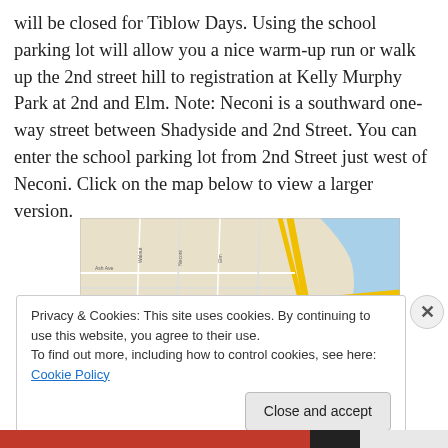will be closed for Tiblow Days. Using the school parking lot will allow you a nice warm-up run or walk up the 2nd street hill to registration at Kelly Murphy Park at 2nd and Elm. Note: Neconi is a southward one-way street between Shadyside and 2nd Street. You can enter the school parking lot from 2nd Street just west of Neconi. Click on the map below to view a larger version.
[Figure (map): Street map showing the area around Kelly Murphy Park at 2nd and Elm, with yellow highlighted roads and a river visible on the right side.]
Privacy & Cookies: This site uses cookies. By continuing to use this website, you agree to their use.
To find out more, including how to control cookies, see here: Cookie Policy
Close and accept